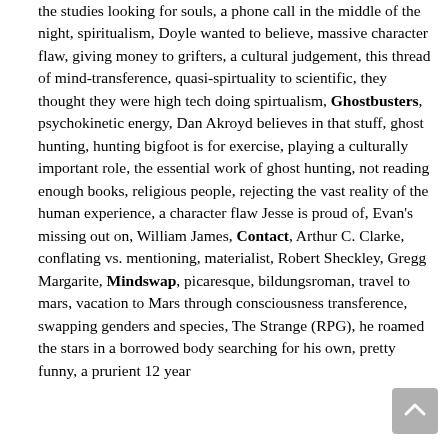the studies looking for souls, a phone call in the middle of the night, spiritualism, Doyle wanted to believe, massive character flaw, giving money to grifters, a cultural judgement, this thread of mind-transference, quasi-spirtuality to scientific, they thought they were high tech doing spirtualism, Ghostbusters, psychokinetic energy, Dan Akroyd believes in that stuff, ghost hunting, hunting bigfoot is for exercise, playing a culturally important role, the essential work of ghost hunting, not reading enough books, religious people, rejecting the vast reality of the human experience, a character flaw Jesse is proud of, Evan's missing out on, William James, Contact, Arthur C. Clarke, conflating vs. mentioning, materialist, Robert Sheckley, Gregg Margarite, Mindswap, picaresque, bildungsroman, travel to mars, vacation to Mars through consciousness transference, swapping genders and species, The Strange (RPG), he roamed the stars in a borrowed body searching for his own, pretty funny, a prurient 12 year